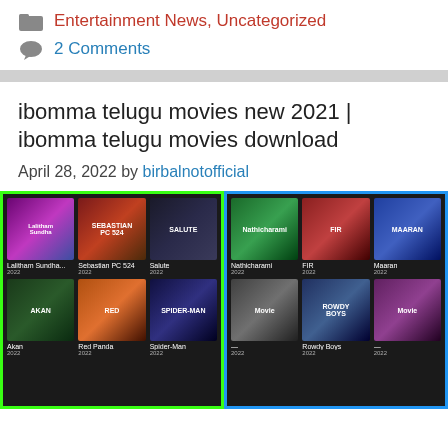Entertainment News, Uncategorized
2 Comments
ibomma telugu movies new 2021 | ibomma telugu movies download
April 28, 2022 by birbalnotofficial
[Figure (screenshot): Two side-by-side screenshots of ibomma Telugu movies website, showing movie posters in a grid layout including Lalitham Sundha, Sebastian PC 524, Salute, Nathicharami, FIR, Maaran, Akan, Red Panda, Spider-Man, Rowdy Boys and more, all from 2022. Left panel has green border, right panel has blue border.]